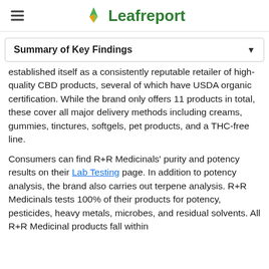Leafreport
Summary of Key Findings
established itself as a consistently reputable retailer of high-quality CBD products, several of which have USDA organic certification. While the brand only offers 11 products in total, these cover all major delivery methods including creams, gummies, tinctures, softgels, pet products, and a THC-free line.
Consumers can find R+R Medicinals' purity and potency results on their Lab Testing page. In addition to potency analysis, the brand also carries out terpene analysis. R+R Medicinals tests 100% of their products for potency, pesticides, heavy metals, microbes, and residual solvents. All R+R Medicinal products fall within